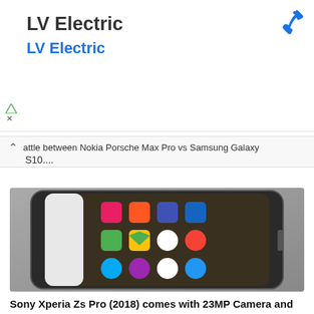[Figure (advertisement): Ad banner for LV Electric with phone icon, showing company name and link text]
attle between Nokia Porsche Max Pro vs Samsung Galaxy S10....
[Figure (photo): A Sony smartphone lying flat showing colorful app icons on dark home screen background]
Sony Xperia Zs Pro (2018) comes with 23MP Camera and SnD 835 chipset!
Here comes another flagship from Sony giant: Sony Xperia Zs Pro....